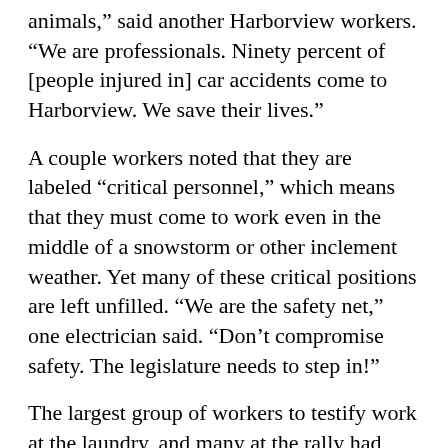animals,” said another Harborview workers. “We are professionals. Ninety percent of [people injured in] car accidents come to Harborview. We save their lives.”
A couple workers noted that they are labeled “critical personnel,” which means that they must come to work even in the middle of a snowstorm or other inclement weather. Yet many of these critical positions are left unfilled. “We are the safety net,” one electrician said. “Don’t compromise safety. The legislature needs to step in!”
The largest group of workers to testify work at the laundry, and many at the rally had worked at the laundry for decades and relied on it to raise their families. “We are feeling not valued,” said one. “We are the most dedicated, the most hard working. Find it in your heart to keep the laundry open.”